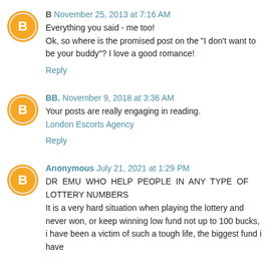B  November 25, 2013 at 7:16 AM
Everything you said - me too!
Ok, so where is the promised post on the "I don't want to be your buddy"? I love a good romance!
Reply
BB.  November 9, 2018 at 3:36 AM
Your posts are really engaging in reading.
London Escorts Agency
Reply
Anonymous  July 21, 2021 at 1:29 PM
DR EMU WHO HELP PEOPLE IN ANY TYPE OF LOTTERY NUMBERS
It is a very hard situation when playing the lottery and never won, or keep winning low fund not up to 100 bucks, i have been a victim of such a tough life, the biggest fund i have